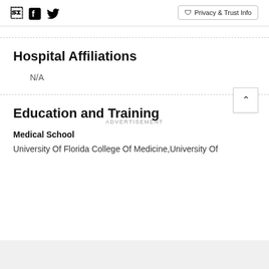Facebook Twitter | Privacy & Trust Info
Hospital Affiliations
N/A
Education and Training
Medical School
University Of Florida College Of Medicine,University Of
ADVERTISEMENT